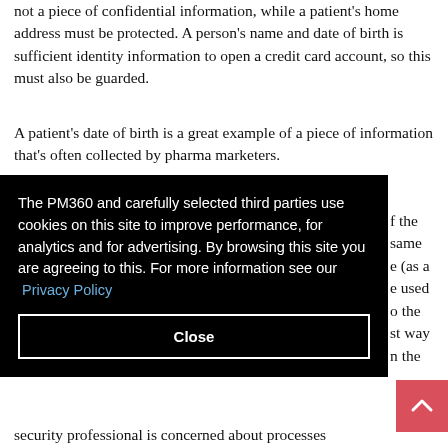not a piece of confidential information, while a patient's home address must be protected. A person's name and date of birth is sufficient identity information to open a credit card account, so this must also be guarded.
A patient's date of birth is a great example of a piece of information that's often collected by pharma marketers.
f the same e (as a e used o the st way n the
[Figure (screenshot): Cookie consent overlay with black background. Text reads: 'The PM360 and carefully selected third parties use cookies on this site to improve performance, for analytics and for advertising. By browsing this site you are agreeing to this. For more information see our Privacy Policy'. Contains a 'Close' button.]
[Figure (screenshot): Pink/red scroll-to-top button with upward chevron arrow icon in bottom right corner.]
about
security professional is concerned about processes